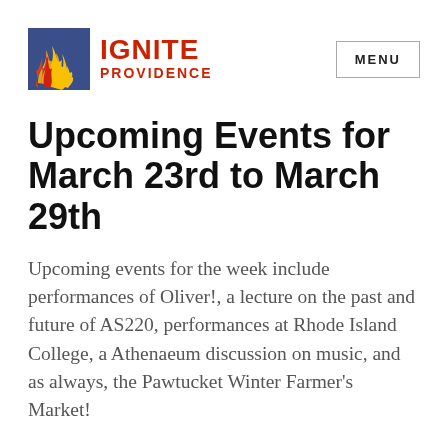[Figure (logo): Ignite Providence logo with flame icon on left and text IGNITE PROVIDENCE on right in red]
MENU
Upcoming Events for March 23rd to March 29th
Upcoming events for the week include performances of Oliver!, a lecture on the past and future of AS220, performances at Rhode Island College, a Athenaeum discussion on music, and as always, the Pawtucket Winter Farmer’s Market!